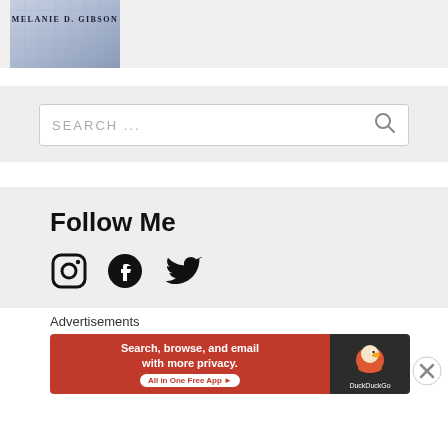[Figure (photo): Partial view of a book cover with author name MELANIE D. GIBSON and a blue/silver metallic textile background]
[Figure (screenshot): Search bar with placeholder text SEARCH ... and a magnifying glass icon on a light gray background]
Follow Me
[Figure (infographic): Social media icons: Instagram, Facebook, Twitter in black]
Advertisements
[Figure (screenshot): DuckDuckGo advertisement banner: Search, browse, and email with more privacy. All in One Free App. DuckDuckGo logo on dark background.]